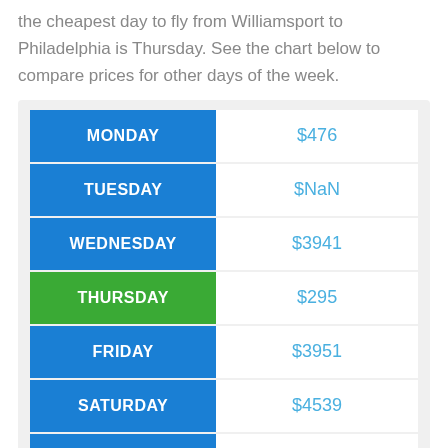the cheapest day to fly from Williamsport to Philadelphia is Thursday. See the chart below to compare prices for other days of the week.
| Day | Price |
| --- | --- |
| MONDAY | $476 |
| TUESDAY | $NaN |
| WEDNESDAY | $3941 |
| THURSDAY | $295 |
| FRIDAY | $3951 |
| SATURDAY | $4539 |
| SUNDAY | $330 |